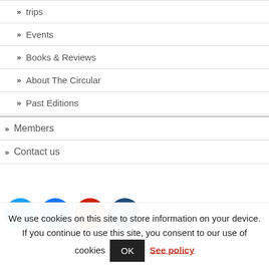» trips
» Events
» Books & Reviews
» About The Circular
» Past Editions
» Members
» Contact us
[Figure (illustration): Row of four social media icons: Twitter (blue bird), Facebook (dark blue f), YouTube (red with You text), and another icon (dark blue)]
We use cookies on this site to store information on your device. If you continue to use this site, you consent to our use of cookies OK See policy